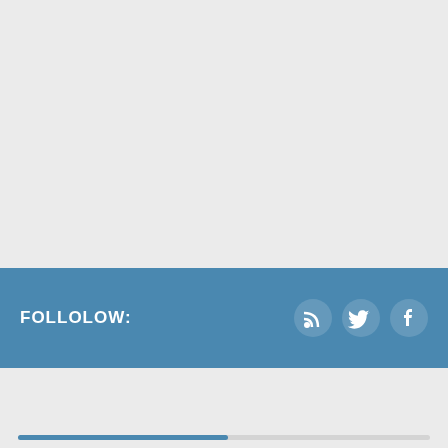FOLLOLOW:
[Figure (illustration): Social media icons: RSS feed, Twitter bird, Facebook circle icons in white on blue bar]
POPULAR THIS WEEK
[Figure (illustration): Star icon (favorites) and clock icon (recent) with a progress/slider bar below]